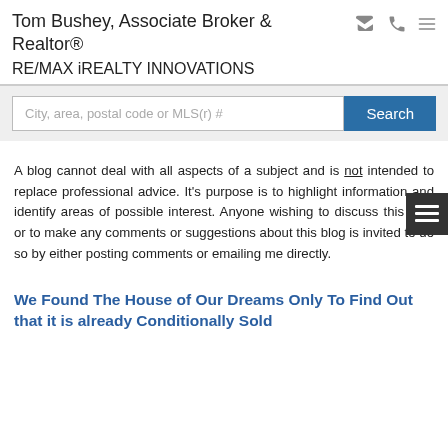Tom Bushey, Associate Broker & Realtor®
RE/MAX iREALTY INNOVATIONS
A blog cannot deal with all aspects of a subject and is not intended to replace professional advice. It's purpose is to highlight information and identify areas of possible interest. Anyone wishing to discuss this blog or to make any comments or suggestions about this blog is invited to do so by either posting comments or emailing me directly.
We Found The House of Our Dreams Only To Find Out that it is already Conditionally Sold